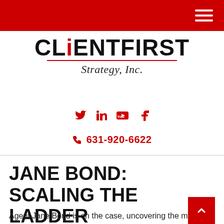CLiENTFIRST Strategy, Inc. — navigation header
[Figure (logo): CLiENTFIRST Strategy, Inc. logo with red underline and italic serif subtitle]
Social media icons: Twitter, LinkedIn, YouTube, Facebook
631-920-6622
JANE BOND: SCALING THE LADDER
Agent Jane Bond is on the case, uncovering the mystery of bond laddering.